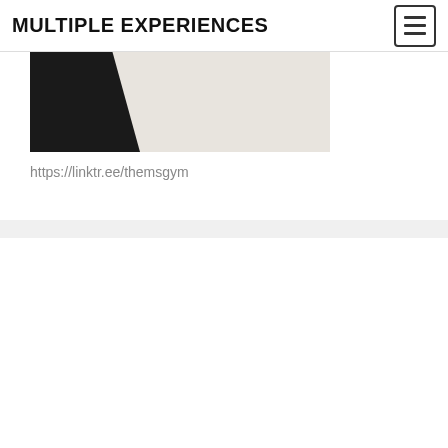MULTIPLE EXPERIENCES
[Figure (photo): Partial view of a person in black and beige/cream clothing, cropped at the top of the page]
https://linktr.ee/themsgym
https://bionicgym.com/?rfsn=6087517.2f5823
[Figure (logo): Bionic GYM logo in orange and black with underline, above a dark product image (glove/wearable device)]